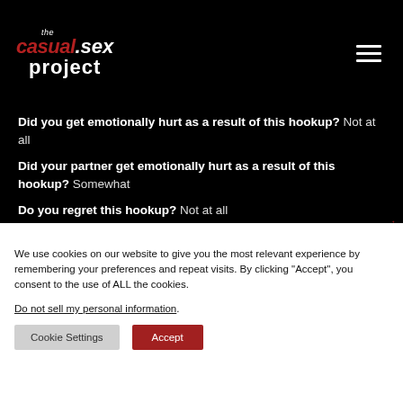the casual.sex project
Did you get emotionally hurt as a result of this hookup? Not at all
Did your partner get emotionally hurt as a result of this hookup? Somewhat
Do you regret this hookup? Not at all
What was the WORST thing about this hookup? Nothing .
We use cookies on our website to give you the most relevant experience by remembering your preferences and repeat visits. By clicking “Accept”, you consent to the use of ALL the cookies.
Do not sell my personal information.